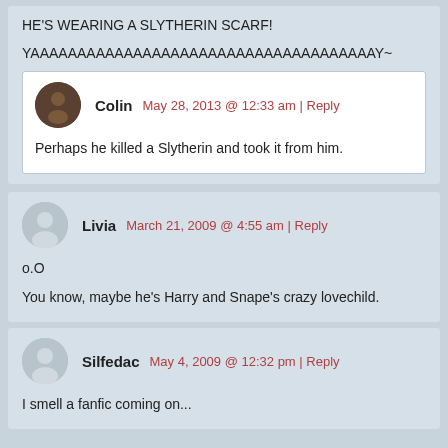HE'S WEARING A SLYTHERIN SCARF!
YAAAAAAAAAAAAAAAAAAAAAAAAAAAAAAAAAAAAAY~
Colin   May 28, 2013 @ 12:33 am | Reply
Perhaps he killed a Slytherin and took it from him.
Livia   March 21, 2009 @ 4:55 am | Reply
o.O
You know, maybe he's Harry and Snape's crazy lovechild.
Silfedac   May 4, 2009 @ 12:32 pm | Reply
I smell a fanfic coming on...